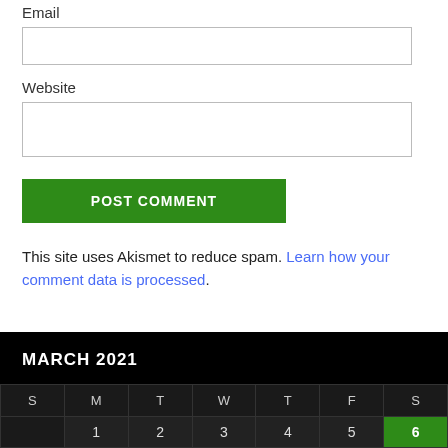Email
Website
POST COMMENT
This site uses Akismet to reduce spam. Learn how your comment data is processed.
MARCH 2021
| S | M | T | W | T | F | S |
| --- | --- | --- | --- | --- | --- | --- |
|  | 1 | 2 | 3 | 4 | 5 | 6 |